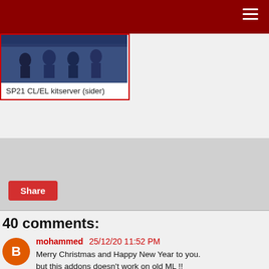[Figure (photo): SP21 CL/EL kitserver (sider) — thumbnail image of people in sports environment]
SP21 CL/EL kitserver (sider)
Share
40 comments:
mohammed  25/12/20 11:52 PM
Merry Christmas and Happy New Year to you.
but this addons doesn't work on old ML !!
Reply